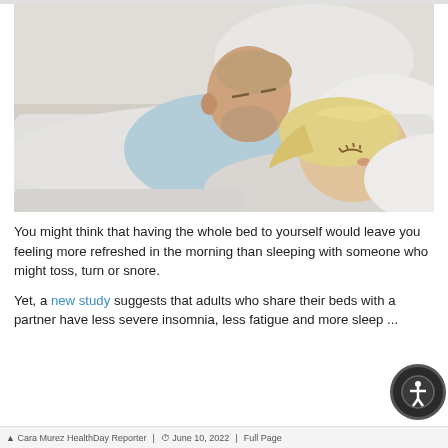[Figure (photo): A middle-aged couple sleeping in bed. A man with a grey beard in a light blue shirt lies in the background; a blonde woman rests in the foreground with eyes closed, both on white pillows.]
You might think that having the whole bed to yourself would leave you feeling more refreshed in the morning than sleeping with someone who might toss, turn or snore.
Yet, a new study suggests that adults who share their beds with a partner have less severe insomnia, less fatigue and more sleep ...
Cara Murez HealthDay Reporter | June 10, 2022 | Full Page